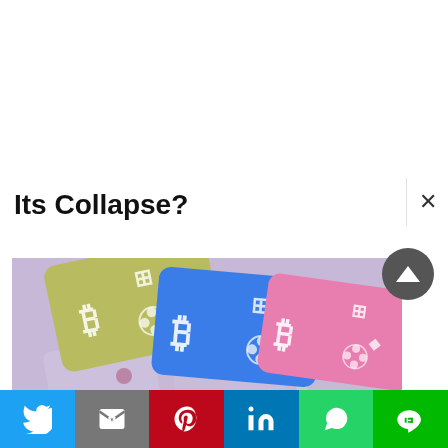Its Collapse?
[Figure (photo): Three crypto debit cards (gold, blue, pink) with Bitcoin, Binance, Ethereum, and other cryptocurrency logos on a purple background with decorative gems]
The Best Crypto Debit Cards
[Figure (infographic): Social media share bar with Twitter, Gmail, Pinterest, LinkedIn, WhatsApp, and Line buttons]